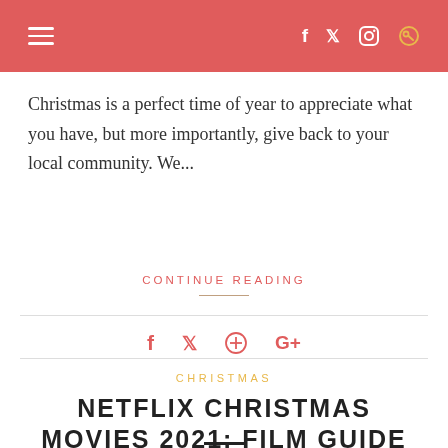navigation and social icons header bar
Christmas is a perfect time of year to appreciate what you have, but more importantly, give back to your local community. We...
CONTINUE READING
[Figure (other): Social sharing icons row: Facebook, Twitter, Pinterest, Google+]
CHRISTMAS
NETFLIX CHRISTMAS MOVIES 2021: FILM GUIDE